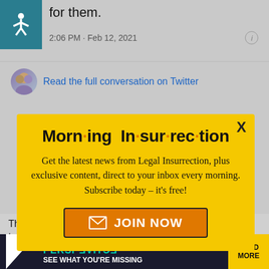for them.
2:06 PM · Feb 12, 2021
Read the full conversation on Twitter
[Figure (screenshot): Yellow modal popup for Morning Insurrection newsletter subscription with JOIN NOW button]
They deleted this right a... George Conway top tw...
[Figure (infographic): THE PERSPECTIVE advertisement banner: SEE WHAT YOU'RE MISSING - READ MORE]
The Lincoln Project is on a full meltdown...